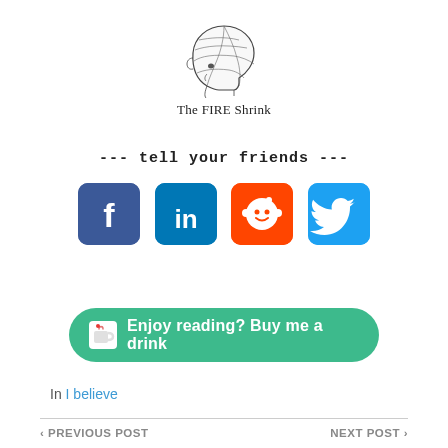[Figure (logo): The FIRE Shrink logo: a side-profile brain illustration with phrenology map sections, with the text 'The FIRE Shrink' below it]
--- tell your friends ---
[Figure (infographic): Four social media share buttons in a row: Facebook (blue), LinkedIn (blue), Reddit (orange), Twitter (light blue)]
[Figure (other): Green rounded button with coffee cup icon and text: Enjoy reading? Buy me a drink]
In I believe
< PREVIOUS POST   NEXT POST >